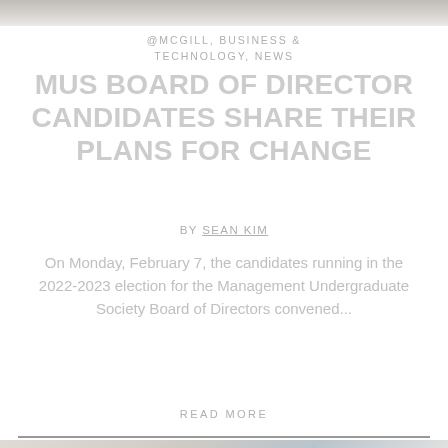[Figure (photo): Top banner image, partially visible, gray tones]
@MCGILL, BUSINESS & TECHNOLOGY, NEWS
MUS BOARD OF DIRECTOR CANDIDATES SHARE THEIR PLANS FOR CHANGE
BY SEAN KIM
On Monday, February 7, the candidates running in the 2022-2023 election for the Management Undergraduate Society Board of Directors convened...
READ MORE
[Figure (photo): Building exterior photograph showing brick facade with red McGill logo signage and blue window reflections]